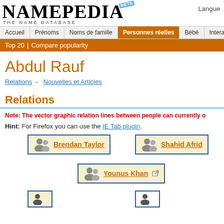Langue
[Figure (logo): Namepedia - The Name Database logo with BETA badge]
Accueil | Prénoms | Noms de famille | Personnes réelles | Bébé | Interactif
Top 20 | Compare popularity
Abdul Rauf
Relations - Nouvelles et Articles
Relations
Note: The vector graphic relation lines between people can currently o
Hint: For Firefox you can use the IE Tab plugin.
Brendan Taylor
Shahid Afrid
Younus Khan